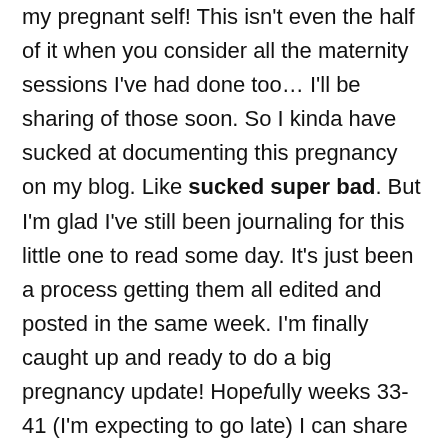my pregnant self! This isn't even the half of it when you consider all the maternity sessions I've had done too… I'll be sharing of those soon. So I kinda have sucked at documenting this pregnancy on my blog. Like sucked super bad. But I'm glad I've still been journaling for this little one to read some day. It's just been a process getting them all edited and posted in the same week. I'm finally caught up and ready to do a big pregnancy update! Hopefully weeks 33-41 (I'm expecting to go late) I can share on a weekly basis.
A couple other things… Remember that New York trip I went on a while back that I couldn't